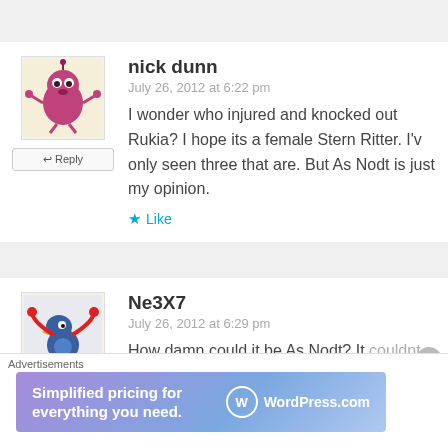nick dunn
July 26, 2012 at 6:22 pm
I wonder who injured and knocked out Rukia? I hope its a female Stern Ritter. I'v only seen three that are. But As Nodt is just my opinion.
Like
Ne3X7
July 26, 2012 at 6:29 pm
How damn could it be As Nodt? It couldnt also be a young female, she
Advertisements
[Figure (infographic): WordPress.com advertisement banner reading 'Simplified pricing for everything you need.']